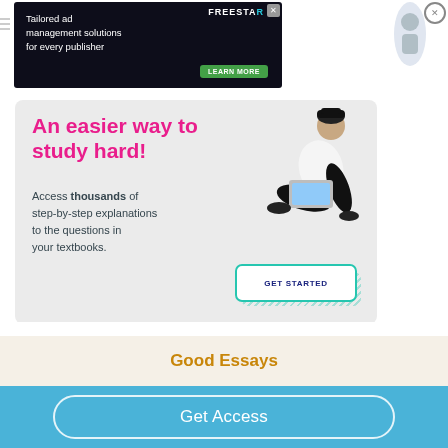[Figure (screenshot): Top ad banner for Freestar ad management with dark background and green Learn More button]
[Figure (illustration): Promotional card with light gray background: 'An easier way to study hard!' in pink, body text about step-by-step explanations, GET STARTED button with teal border, and illustration of person sitting with laptop]
Good Essays
Get Access